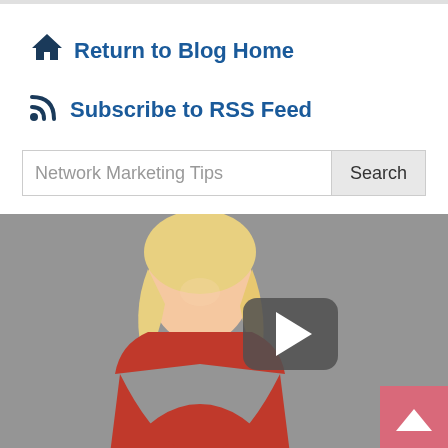Return to Blog Home
Subscribe to RSS Feed
Network Marketing Tips  Search
[Figure (photo): A smiling blonde woman in a red dress with a video play button overlay, partially visible scroll-to-top button in bottom right corner.]